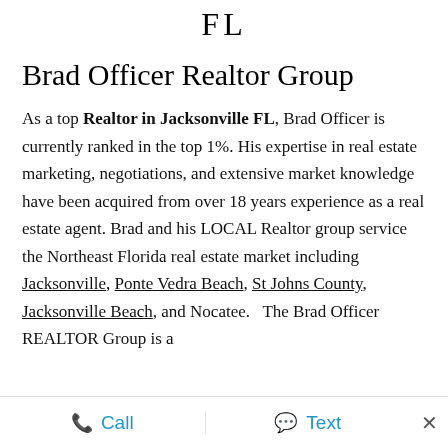FL
Brad Officer Realtor Group
As a top Realtor in Jacksonville FL, Brad Officer is currently ranked in the top 1%. His expertise in real estate marketing, negotiations, and extensive market knowledge have been acquired from over 18 years experience as a real estate agent. Brad and his LOCAL Realtor group service the Northeast Florida real estate market including Jacksonville, Ponte Vedra Beach, St Johns County, Jacksonville Beach, and Nocatee.   The Brad Officer REALTOR Group is a
Call   Text